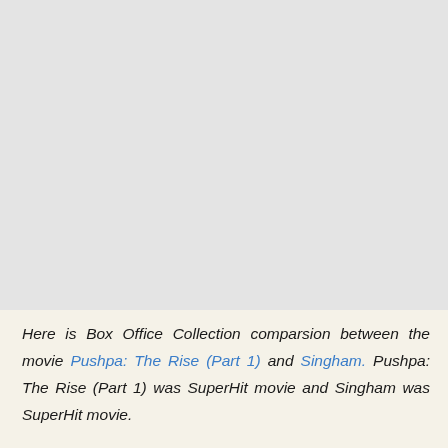[Figure (other): Large light gray blank area occupying the top portion of the page]
Here is Box Office Collection comparsion between the movie Pushpa: The Rise (Part 1) and Singham. Pushpa: The Rise (Part 1) was SuperHit movie and Singham was SuperHit movie.